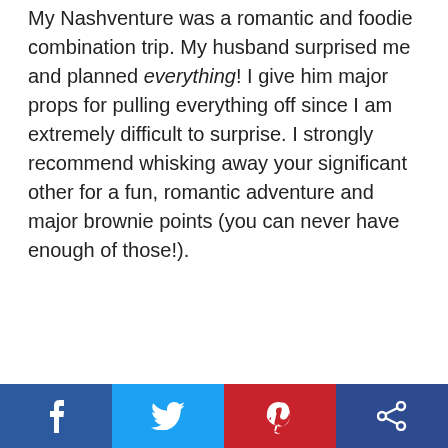My Nashventure was a romantic and foodie combination trip. My husband surprised me and planned everything! I give him major props for pulling everything off since I am extremely difficult to surprise. I strongly recommend whisking away your significant other for a fun, romantic adventure and major brownie points (you can never have enough of those!).
[Figure (infographic): Social share bar with four buttons: Facebook (dark blue, f icon), Twitter (light blue, bird icon), Pinterest (red, P icon), Share (dark blue, share icon)]